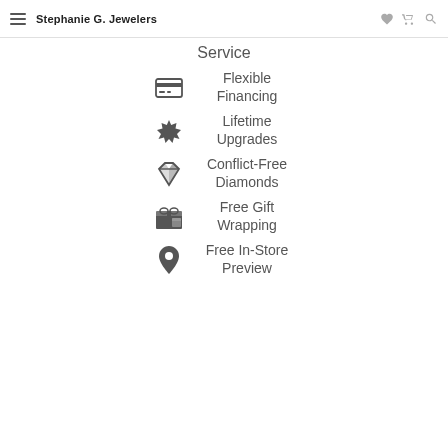Stephanie G. Jewelers
Service
Flexible Financing
Lifetime Upgrades
Conflict-Free Diamonds
Free Gift Wrapping
Free In-Store Preview